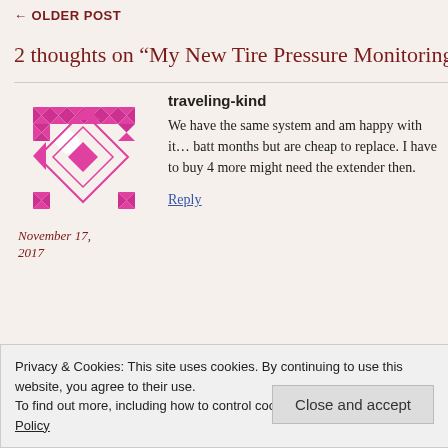← OLDER POST
2 thoughts on “My New Tire Pressure Monitoring S
[Figure (illustration): Pink quilt-pattern avatar icon for user traveling-kind]
traveling-kind
We have the same system and am happy with it… batt months but are cheap to replace. I have to buy 4 more might need the extender then.
November 17, 2017
Reply
[Figure (illustration): Blue/white quilt-pattern avatar icon for user ramblinmanjimj]
ramblinmanjimj
Thanks for your message. Disappointed to hear a reviews indicate up to five years. Mine seems to b
November 18, 2017
Privacy & Cookies: This site uses cookies. By continuing to use this website, you agree to their use.
To find out more, including how to control cookies, see here: Cookie Policy
Close and accept